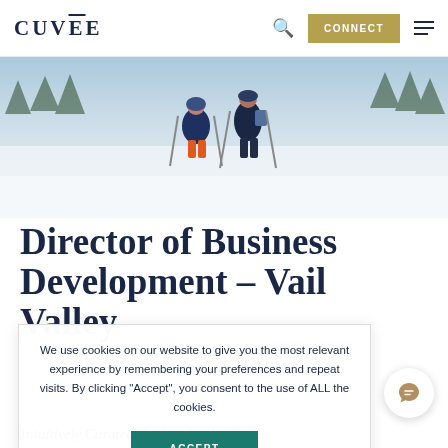CUVĒE   [search icon]   CONNECT   [menu icon]
[Figure (photo): Two people cross-country skiing in a snowy winter landscape, viewed from behind, wearing winter jackets and carrying ski poles.]
Director of Business Development – Vail Valley
Director of Business in Vail.
We use cookies on our website to give you the most relevant experience by remembering your preferences and repeat visits. By clicking "Accept", you consent to the use of ALL the cookies.
ACCEPT
Intuitively Curated, Authentically Cuvée.